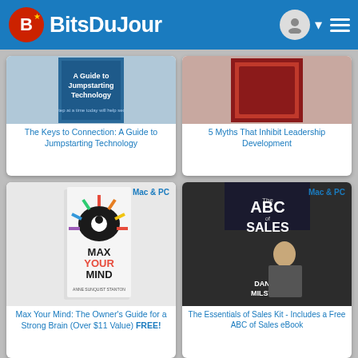Bits Du Jour
[Figure (illustration): Book cover: The Keys to Connection: A Guide to Jumpstarting Technology - blue cover]
The Keys to Connection: A Guide to Jumpstarting Technology
[Figure (illustration): Book cover: 5 Myths That Inhibit Leadership Development - red/maroon cover]
5 Myths That Inhibit Leadership Development
Mac & PC
[Figure (illustration): Book cover: Max Your Mind - colorful brain design]
Max Your Mind: The Owner's Guide for a Strong Brain (Over $11 Value) FREE!
Mac & PC
[Figure (illustration): Book cover: The ABC of Sales by Daniel Milstein]
The Essentials of Sales Kit - Includes a Free ABC of Sales eBook
Mac & PC
[Figure (illustration): Partial book cover at bottom - blue book]